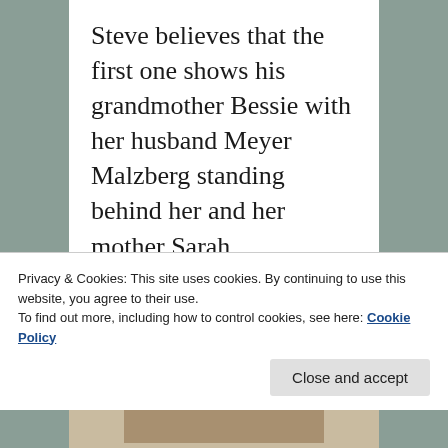Steve believes that the first one shows his grandmother Bessie with her husband Meyer Malzberg standing behind her and her mother Sarah.
I am particularly intrigued by the photograph that appears on the piece of furniture behind Bessie. Is
Privacy & Cookies: This site uses cookies. By continuing to use this website, you agree to their use.
To find out more, including how to control cookies, see here: Cookie Policy
[Figure (photo): Partial view of a photograph at the bottom of the page, partially obscured by the cookie banner.]